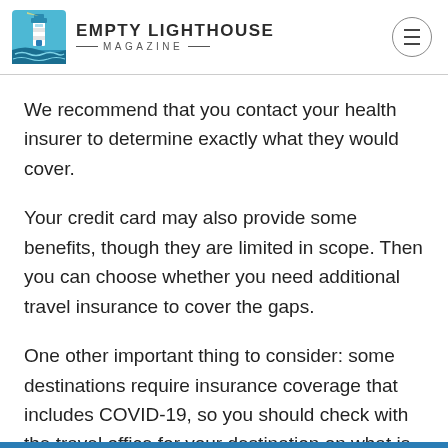Empty Lighthouse Magazine
We recommend that you contact your health insurer to determine exactly what they would cover.
Your credit card may also provide some benefits, though they are limited in scope. Then you can choose whether you need additional travel insurance to cover the gaps.
One other important thing to consider: some destinations require insurance coverage that includes COVID-19, so you should check with the travel office for your destination on what is required.